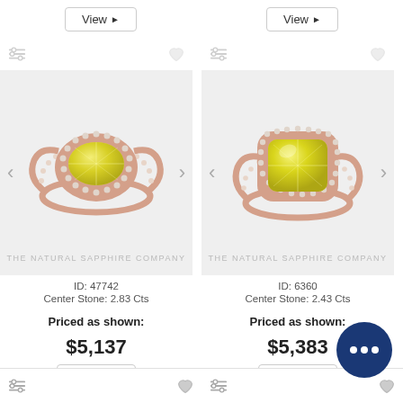[Figure (screenshot): Top row: two View buttons with right-arrow indicators]
[Figure (photo): Yellow sapphire oval halo ring in rose gold setting, ID 47742, on white background with The Natural Sapphire Company watermark]
ID: 47742
Center Stone: 2.83 Cts
Priced as shown:
$5,137
[Figure (photo): Yellow sapphire cushion halo ring in rose gold setting, ID 6360, on white background with The Natural Sapphire Company watermark]
ID: 6360
Center Stone: 2.43 Cts
Priced as shown:
$5,383